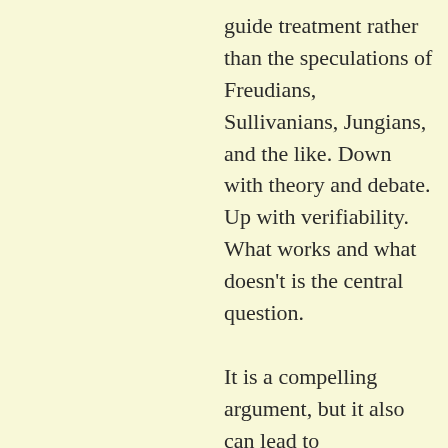guide treatment rather than the speculations of Freudians, Sullivanians, Jungians, and the like. Down with theory and debate. Up with verifiability. What works and what doesn't is the central question.

It is a compelling argument, but it also can lead to